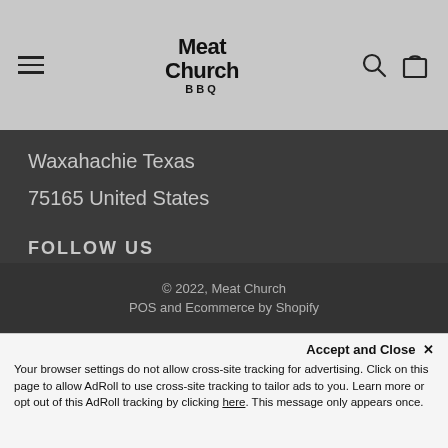Meat Church BBQ — navigation header with hamburger menu, logo, search and cart icons
Waxahachie Texas
75165 United States
FOLLOW US
[Figure (other): Four social media icon circles: Facebook, Twitter, Instagram, YouTube]
© 2022, Meat Church
POS and Ecommerce by Shopify
Accept and Close ✕
Your browser settings do not allow cross-site tracking for advertising. Click on this page to allow AdRoll to use cross-site tracking to tailor ads to you. Learn more or opt out of this AdRoll tracking by clicking here. This message only appears once.